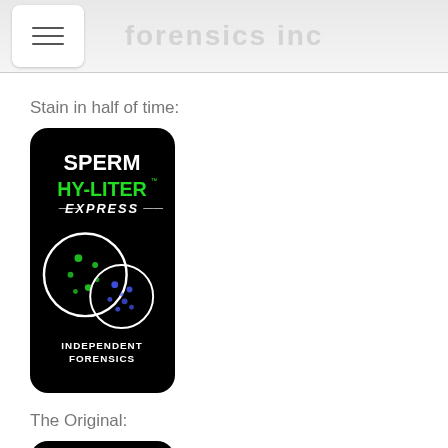Stain in half of time:
[Figure (photo): Sperm HY-LITER Express product logo/image on black rounded rectangle background. Shows 'SPERM' in white bold text, 'HY-LITER' in green bold text, 'EXPRESS' in italic white text with speed lines, two overlapping circles showing green and blue fluorescent dots on black, and 'INDEPENDENT FORENSICS' text at bottom. By Independent Forensics.]
The Original:
[Figure (photo): Sperm HY-LITER original product logo/image on black rounded rectangle background. Shows 'SPERM' in white bold text and two overlapping circles showing green and blue fluorescent dots on black.]